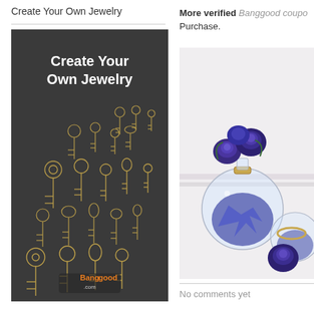Create Your Own Jewelry
[Figure (photo): Dark background product image with gold decorative keys arranged in rows, white text 'Create Your Own Jewelry' at top, Banggood.com logo at bottom]
More verified Banggood coupo... Purchase.
[Figure (photo): Blue roses with glass globe bottles filled with blue crystals and flowers, decorative jewelry-style arrangement on white background]
No comments yet